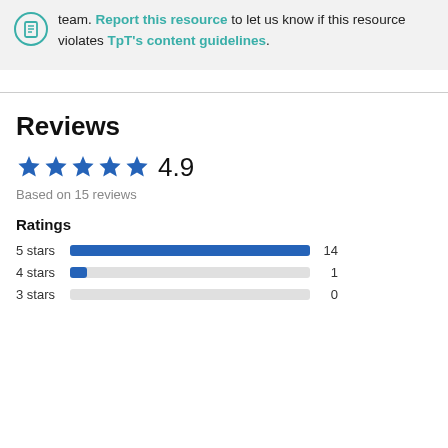team. Report this resource to let us know if this resource violates TpT's content guidelines.
Reviews
4.9
Based on 15 reviews
Ratings
[Figure (bar-chart): Ratings]